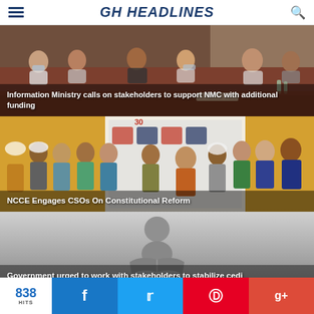GH HEADLINES
[Figure (photo): People seated around tables in a meeting room with red chairs, some wearing face masks]
Information Ministry calls on stakeholders to support NMC with additional funding
[Figure (photo): Group of people posing in front of a banner at an NCCE event]
NCCE Engages CSOs On Constitutional Reform
[Figure (illustration): Gray silhouette icon of a person reading a book]
Government urged to work with stakeholders to stabilize cedi
838 HITS  Facebook  Twitter  Pinterest  Google+